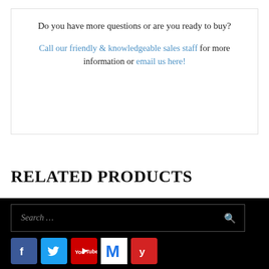Do you have more questions or are you ready to buy?
Call our friendly & knowledgeable sales staff for more information or email us here!
RELATED PRODUCTS
Search …
[Figure (other): Social media icons: Facebook, Twitter, YouTube, Mail, Yelp]